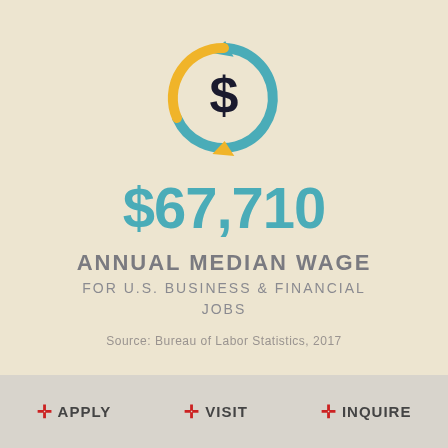[Figure (infographic): Circular arrows icon with a dollar sign in the center, upper half in teal/blue and lower half in golden yellow, representing financial/wage concept]
$67,710
ANNUAL MEDIAN WAGE
FOR U.S. BUSINESS & FINANCIAL JOBS
Source: Bureau of Labor Statistics, 2017
+ APPLY   + VISIT   + INQUIRE